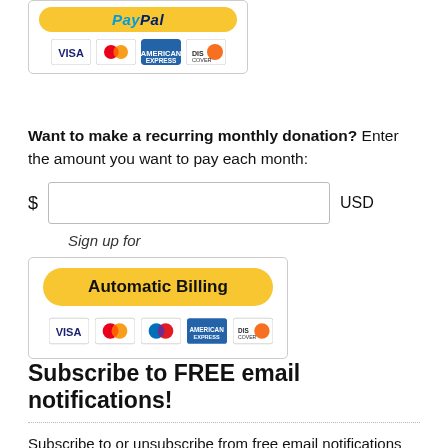[Figure (other): PayPal donation button with Visa, Mastercard, American Express, Discover card logos inside a bordered widget box at the top of the page]
Want to make a recurring monthly donation? Enter the amount you want to pay each month:
[Figure (other): Dollar amount input field with $ label on left and USD label on right, followed by 'Sign up for' italic text and an Automatic Billing PayPal-style button with card logos (Visa, Mastercard, PayPal, American Express, Discover) inside a bordered widget box]
Subscribe to FREE email notifications!
Subscribe to or unsubscribe from free email notifications when new posts are posted.